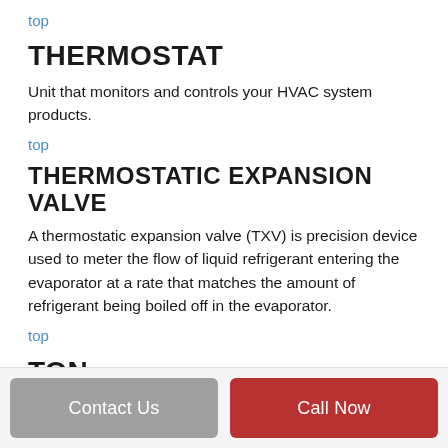top
THERMOSTAT
Unit that monitors and controls your HVAC system products.
top
THERMOSTATIC EXPANSION VALVE
A thermostatic expansion valve (TXV) is precision device used to meter the flow of liquid refrigerant entering the evaporator at a rate that matches the amount of refrigerant being boiled off in the evaporator.
top
TON
Contact Us | Call Now